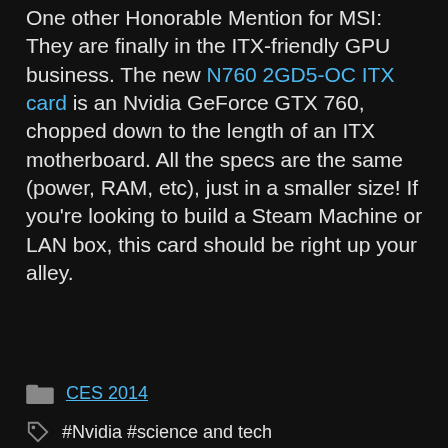One other Honorable Mention for MSI: They are finally in the ITX-friendly GPU business. The new N760 2GD5-OC ITX card is an Nvidia GeForce GTX 760, chopped down to the length of an ITX motherboard. All the specs are the same (power, RAM, etc), just in a smaller size! If you're looking to build a Steam Machine or LAN box, this card should be right up your alley.
CES 2014
#Nvidia  #science and tech
VIEW COMMENTS
[Figure (screenshot): Advertisement banner: LIMITED-TIME OFFER - SAVE OVER 40% WHEN YOU PREP FOR A YEAR, with fine print below]